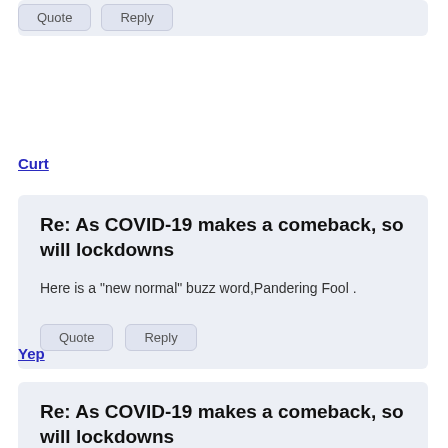Quote  Reply
Curt
Re: As COVID-19 makes a comeback, so will lockdowns
Here is a "new normal" buzz word,Pandering Fool .
Quote  Reply
Yep
Re: As COVID-19 makes a comeback, so will lockdowns